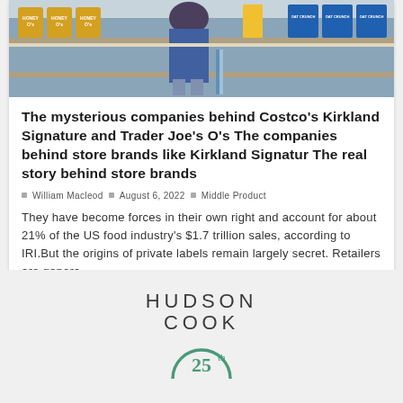[Figure (photo): A photo of a store shelf with cereal and food products, with a person visible from behind browsing the shelves. Visible brands include Honey O's and Oat Crunch products.]
The mysterious companies behind Costco's Kirkland Signature and Trader Joe's O's The companies behind store brands like Kirkland Signatur The real story behind store brands
William Macleod  August 6, 2022  Middle Product
They have become forces in their own right and account for about 21% of the US food industry's $1.7 trillion sales, according to IRI.But the origins of private labels remain largely secret. Retailers are genera…
[Figure (logo): Hudson Cook logo with text HUDSON COOK and a 25th anniversary circular design in green/teal color]